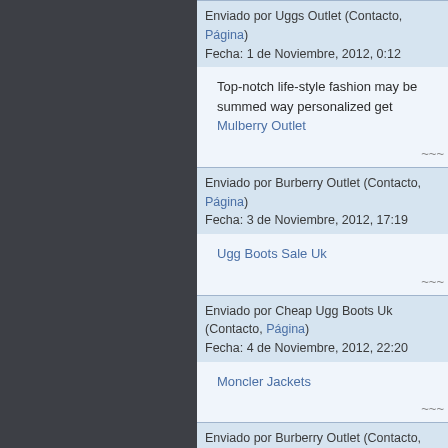Enviado por Uggs Outlet (Contacto, Página)
Fecha: 1 de Noviembre, 2012, 0:12
Top-notch life-style fashion may be summed way personalized get Mulberry Outlet
Enviado por Burberry Outlet (Contacto, Página)
Fecha: 3 de Noviembre, 2012, 17:19
Ugg Boots Sale Uk
Enviado por Cheap Ugg Boots Uk (Contacto, Página)
Fecha: 4 de Noviembre, 2012, 22:20
Moncler Jackets
Enviado por Burberry Outlet (Contacto, Página)
Fecha: 5 de Noviembre, 2012, 5:11
Burberry Outlet online stores provide you with Burberry Purses, Burberry Coats, Burberry Shirts Burberry shoes and so on, all of our products are